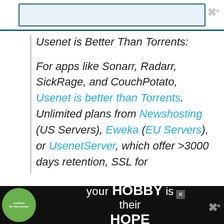[Figure (screenshot): Top navigation bar with blue border and light blue input field area]
Usenet is Better Than Torrents:
For apps like Sonarr, Radarr, SickRage, and CouchPotato, Usenet is better than Torrents. Unlimited plans from Newshosting (US Servers), Eweka (EU Servers), or UsenetServer, which offer >3000 days retention, SSL for
[Figure (screenshot): Advertisement banner: cookies for kid cancer / your HOBBY is their HOPE with close button]